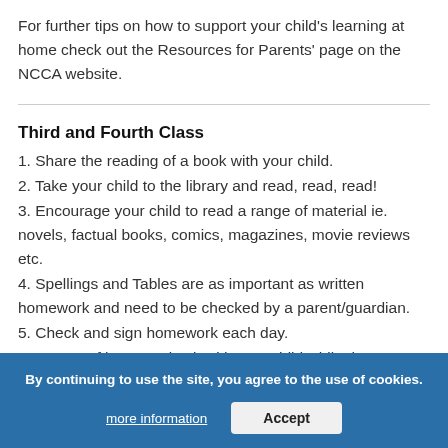For further tips on how to support your child's learning at home check out the Resources for Parents' page on the NCCA website.
Third and Fourth Class
1. Share the reading of a book with your child.
2. Take your child to the library and read, read, read!
3. Encourage your child to read a range of material ie. novels, factual books, comics, magazines, movie reviews etc.
4. Spellings and Tables are as important as written homework and need to be checked by a parent/guardian.
5. Check and sign homework each day.
6. As part of homework, sit with your child while they are doing it.
7. Encourage your child to download...
8. Make maths real for your child ie. Take a calculator to the grocery shop and encourage your